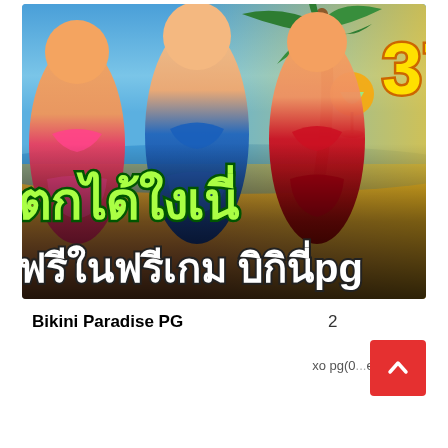[Figure (screenshot): Bikini Paradise PG game promotional banner showing beach scene with bikini-clad figures, the number 37, and Thai text reading 'ตกได้ใงเนี่' and 'ฟรีในฟรีเกม บิกินี่pg']
Bikini Paradise PG
2
xo pg(0...er